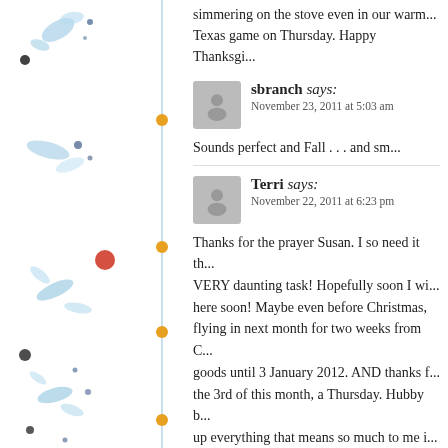simmering on the stove even in our warm... Texas game on Thursday. Happy Thanksgi...
sbranch says: November 23, 2011 at 5:03 am
Sounds perfect and Fall . . . and sm...
Terri says: November 22, 2011 at 6:23 pm
Thanks for the prayer Susan. I so need it th... VERY daunting task! Hopefully soon I wi... here soon! Maybe even before Christmas, flying in next month for two weeks from C... goods until 3 January 2012. AND thanks f... the 3rd of this month, a Thursday. Hubby b... up everything that means so much to me i...